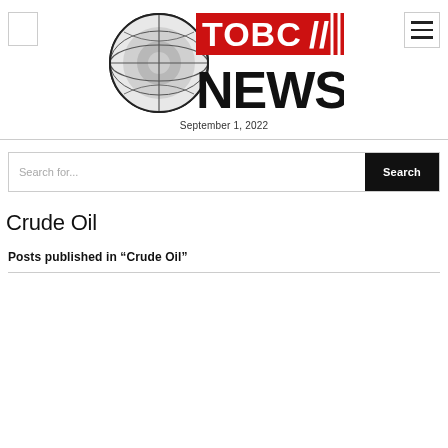[Figure (logo): TOBC News logo with globe graphic on left and red/black TOBC NEWS text on right]
September 1, 2022
[Figure (other): Search bar with 'Search for...' placeholder and black Search button]
Crude Oil
Posts published in “Crude Oil”